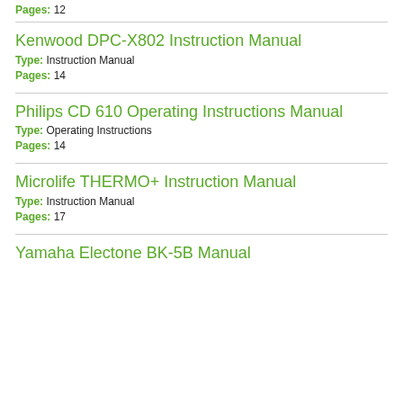Pages: 12
Kenwood DPC-X802 Instruction Manual
Type: Instruction Manual
Pages: 14
Philips CD 610 Operating Instructions Manual
Type: Operating Instructions
Pages: 14
Microlife THERMO+ Instruction Manual
Type: Instruction Manual
Pages: 17
Yamaha Electone BK-5B Manual